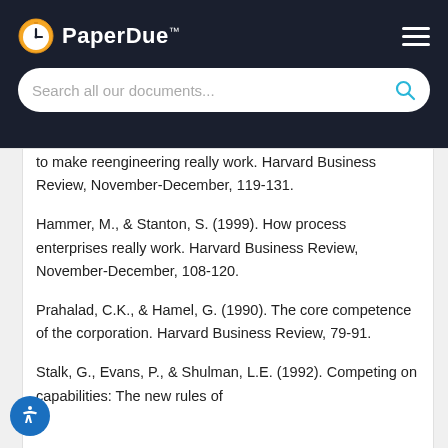[Figure (logo): PaperDue logo with clock icon and search bar UI header]
to make reengineering really work. Harvard Business Review, November-December, 119-131.
Hammer, M., & Stanton, S. (1999). How process enterprises really work. Harvard Business Review, November-December, 108-120.
Prahalad, C.K., & Hamel, G. (1990). The core competence of the corporation. Harvard Business Review, 79-91.
Stalk, G., Evans, P., & Shulman, L.E. (1992). Competing on capabilities: The new rules of